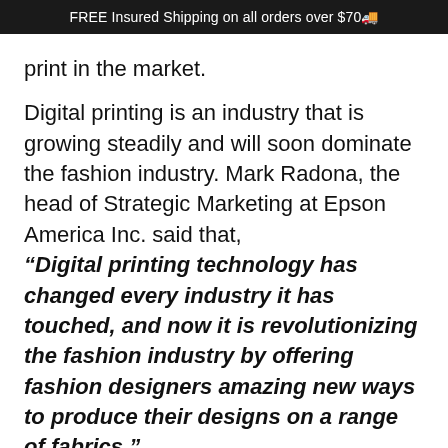FREE Insured Shipping on all orders over $70🚚
print in the market.
Digital printing is an industry that is growing steadily and will soon dominate the fashion industry. Mark Radona, the head of Strategic Marketing at Epson America Inc. said that, "Digital printing technology has changed every industry it has touched, and now it is revolutionizing the fashion industry by offering fashion designers amazing new ways to produce their designs on a range of fabrics."
Digital fabric printing has far more benefits that the traditional method of printing fabric